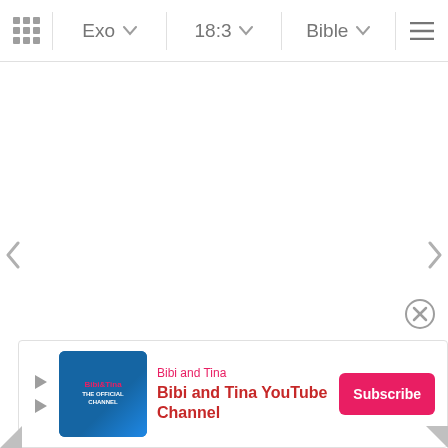Exo  18:3  Bible
[Figure (screenshot): Bible app navigation bar with grid icon, book selector (Exo), chapter selector (18:3), version selector (Bible), and hamburger menu]
[Figure (screenshot): Empty main content area of Bible app with left and right navigation arrows]
[Figure (screenshot): Bibi and Tina YouTube Channel advertisement banner with subscribe button and close button]